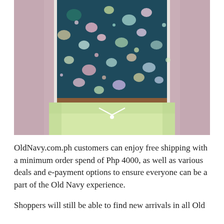[Figure (photo): A person wearing a teal/navy floral patterned crop top, light green shorts with a white drawstring, and a dusty pink/mauve cardigan. The photo is cropped from the waist up, showing the outfit from the torso down.]
OldNavy.com.ph customers can enjoy free shipping with a minimum order spend of Php 4000, as well as various deals and e-payment options to ensure everyone can be a part of the Old Navy experience.
Shoppers will still be able to find new arrivals in all Old